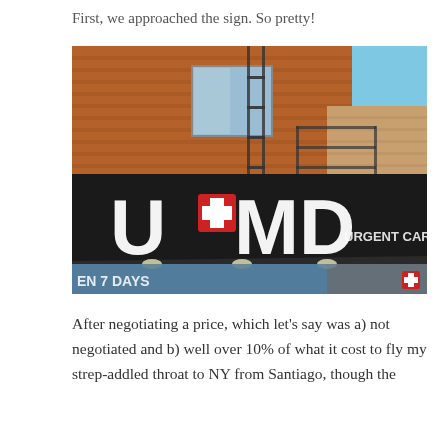First, we approached the sign. So pretty!
[Figure (photo): Street-level upward angle photo of the U+MD Urgent Care clinic sign on a brick building. The storefront has a dark awning with large white letters 'U' and 'MD' with a red cross symbol between them, and text reading 'URGENT CARE'. A fire escape is visible on the brick building above. The sky is blue. Text on the window reads 'EN 7 DAYS'.]
After negotiating a price, which let’s say was a) not negotiated and b) well over 10% of what it cost to fly my strep-addled throat to NY from Santiago, though the